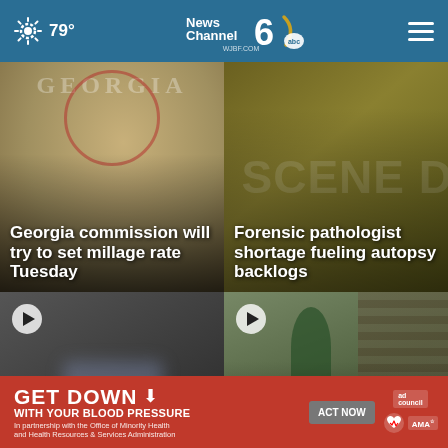79° News Channel 6 abc WJBF.COM
[Figure (screenshot): News card: Georgia commission will try to set millage rate Tuesday — background shows Georgia logo/seal]
Georgia commission will try to set millage rate Tuesday
[Figure (screenshot): News card: Forensic pathologist shortage fueling autopsy backlogs — yellow/scene background]
Forensic pathologist shortage fueling autopsy backlogs
[Figure (screenshot): Video news card: Local authorities warning about social media — blurred dark background with play button]
Local authorities wa... soc... (warning about social media)
[Figure (screenshot): Video news card: Atlanta Police Two ... urt — police officer with weapon near car, brick building]
Atlanta P. × Two ... urt
[Figure (infographic): Advertisement banner: GET DOWN with your blood pressure — ACT NOW button, ad council, American Heart Association, AMA logos]